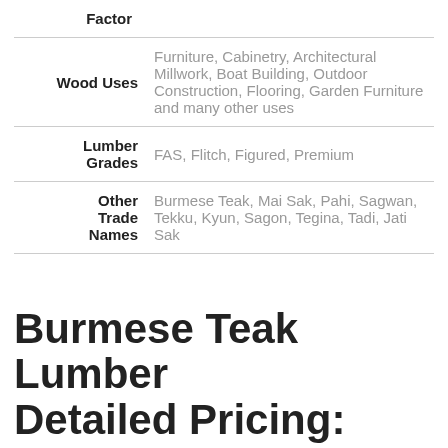| Factor |  |
| --- | --- |
| Wood Uses | Furniture, Cabinetry, Architectural Millwork, Boat Building, Outdoor Construction, Flooring, Garden Furniture and many other uses |
| Lumber Grades | FAS, Flitch, Figured, Premium |
| Other Trade Names | Burmese Teak, Mai Sak, Pahi, Sagwan, Tekku, Kyun, Sagon, Tegina, Tadi, Jati Sak |
Burmese Teak Lumber Detailed Pricing: